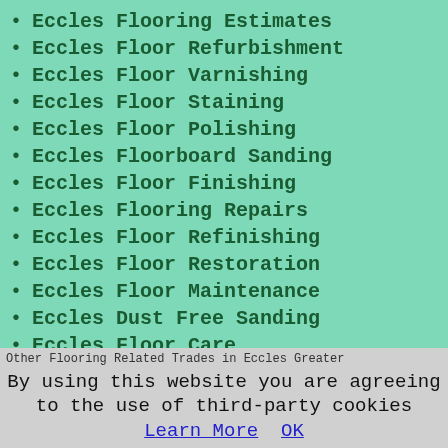Eccles Flooring Estimates
Eccles Floor Refurbishment
Eccles Floor Varnishing
Eccles Floor Staining
Eccles Floor Polishing
Eccles Floorboard Sanding
Eccles Floor Finishing
Eccles Flooring Repairs
Eccles Floor Refinishing
Eccles Floor Restoration
Eccles Floor Maintenance
Eccles Dust Free Sanding
Eccles Floor Care
Other Flooring Related Trades in Eccles Greater
By using this website you are agreeing to the use of third-party cookies Learn More OK